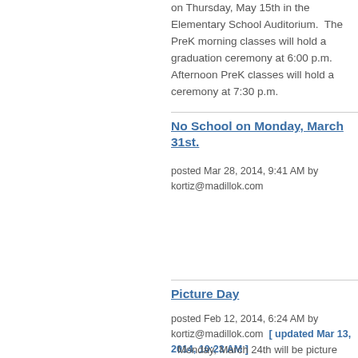on Thursday, May 15th in the Elementary School Auditorium.  The PreK morning classes will hold a graduation ceremony at 6:00 p.m.  Afternoon PreK classes will hold a ceremony at 7:30 p.m.
No School on Monday, March 31st.
posted Mar 28, 2014, 9:41 AM by kortiz@madillok.com
Picture Day
posted Feb 12, 2014, 6:24 AM by kortiz@madillok.com  [ updated Mar 13, 2014, 10:23 AM ]
Monday, March 24th will be picture day. Students will do